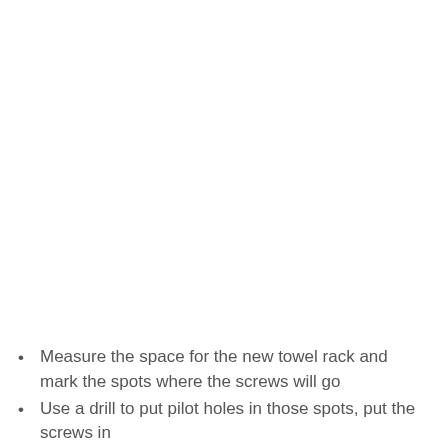Measure the space for the new towel rack and mark the spots where the screws will go
Use a drill to put pilot holes in those spots, put the screws in